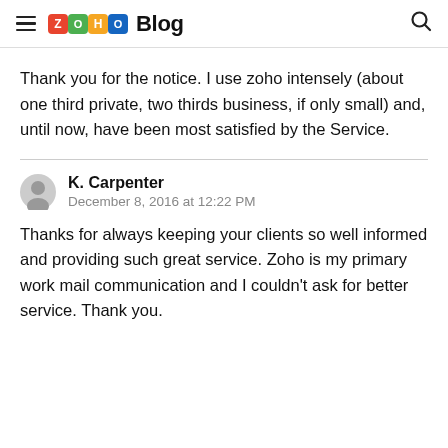Zoho Blog
Thank you for the notice. I use zoho intensely (about one third private, two thirds business, if only small) and, until now, have been most satisfied by the Service.
K. Carpenter
December 8, 2016 at 12:22 PM
Thanks for always keeping your clients so well informed and providing such great service. Zoho is my primary work mail communication and I couldn't ask for better service. Thank you.